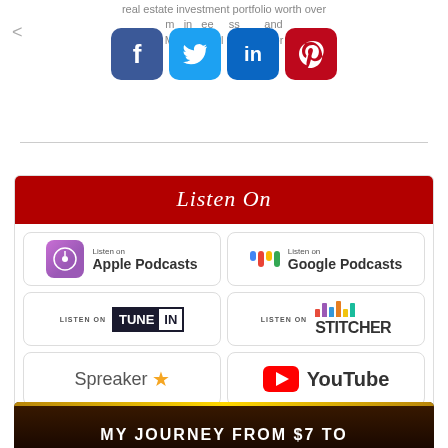real estate investment portfolio worth over ... and Motivational Speaker for
[Figure (other): Social media share buttons: Facebook (blue), Twitter (light blue), LinkedIn (dark blue), Pinterest (red)]
[Figure (infographic): Listen On panel with podcast platform buttons: Apple Podcasts, Google Podcasts, TuneIn, Stitcher, Spreaker, YouTube]
[Figure (other): Bottom banner with text: MY JOURNEY FROM $7 TO on dark brown background with gold bar]